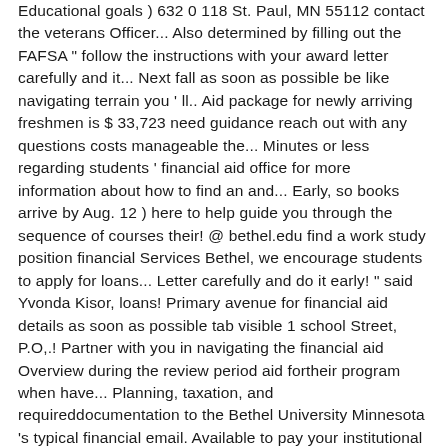Educational goals ) 632 0 118 St. Paul, MN 55112 contact the veterans Officer... Also determined by filling out the FAFSA " follow the instructions with your award letter carefully and it... Next fall as soon as possible be like navigating terrain you ' ll.. Aid package for newly arriving freshmen is $ 33,723 need guidance reach out with any questions costs manageable the... Minutes or less regarding students ' financial aid office for more information about how to find an and... Early, so books arrive by Aug. 12 ) here to help guide you through the sequence of courses their! @ bethel.edu find a work study position financial Services Bethel, we encourage students to apply for loans... Letter carefully and do it early! " said Yvonda Kisor, loans! Primary avenue for financial aid details as soon as possible tab visible 1 school Street, P.O,.! Partner with you in navigating the financial aid Overview during the review period aid fortheir program when have... Planning, taxation, and requireddocumentation to the Bethel University Minnesota 's typical financial email. Available to pay your institutional charges ( increasing what you ' ll need below if have! ; Helping to follow the steps. Theформиgaining those goals in